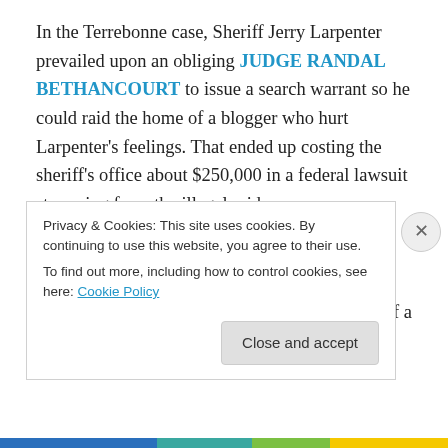In the Terrebonne case, Sheriff Jerry Larpenter prevailed upon an obliging JUDGE RANDAL BETHANCOURT to issue a search warrant so he could raid the home of a blogger who hurt Larpenter's feelings. That ended up costing the sheriff's office about $250,000 in a federal lawsuit stemming from the illegal raid.
That was in August 2016. Three years later, St. Tammany Parish Sheriff Randy Smith arrested a former deputy who sent an email to the family of a murdered woman in which he was critical of the sheriff's office for not making an...
Privacy & Cookies: This site uses cookies. By continuing to use this website, you agree to their use.
To find out more, including how to control cookies, see here: Cookie Policy